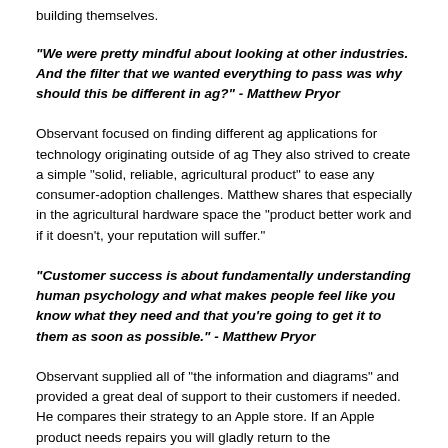building themselves.
“We were pretty mindful about looking at other industries. And the filter that we wanted everything to pass was why should this be different in ag?” - Matthew Pryor
Observant focused on finding different ag applications for technology originating outside of ag They also strived to create a simple “solid, reliable, agricultural product” to ease any consumer-adoption challenges. Matthew shares that especially in the agricultural hardware space the “product better work and if it doesn’t, your reputation will suffer.”
“Customer success is about fundamentally understanding human psychology and what makes people feel like you know what they need and that you’re going to get it to them as soon as possible.” - Matthew Pryor
Observant supplied all of “the information and diagrams” and provided a great deal of support to their customers if needed. He compares their strategy to an Apple store. If an Apple product needs repairs you will gladly return to the